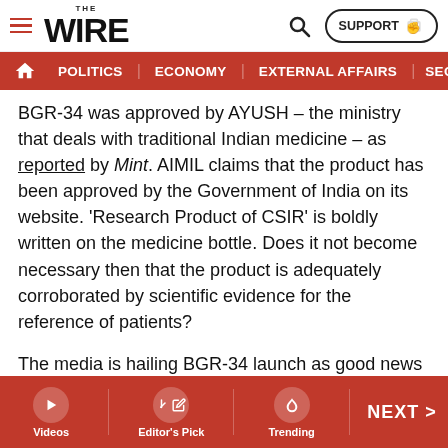THE WIRE — SUPPORT
POLITICS | ECONOMY | EXTERNAL AFFAIRS | SECU
BGR-34 was approved by AYUSH – the ministry that deals with traditional Indian medicine – as reported by Mint. AIMIL claims that the product has been approved by the Government of India on its website. 'Research Product of CSIR' is boldly written on the medicine bottle. Does it not become necessary then that the product is adequately corroborated by scientific evidence for the reference of patients?
The media is hailing BGR-34 launch as good news for diabetes patients. Some channels have been claiming that the medicine is economical and costs Rs 5 per day, when in reality each tablet costs Rs 5 and of which the
Videos | Editor's Pick | Trending | NEXT >